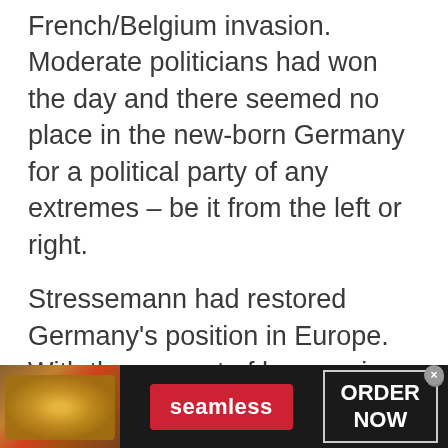French/Belgium invasion. Moderate politicians had won the day and there seemed no place in the new-born Germany for a political party of any extremes – be it from the left or right.
Stressemann had restored Germany's position in Europe. With the support of her previous enemy, France, Germany had entered the League of Nations in 1926. Normality seemed to be in place. Hence the Nazi Party's poor showing at the elections.
Hitler kept to his promise of working within the
[Figure (screenshot): Advertisement banner for Seamless food delivery service showing pizza image on left, red Seamless logo in center, and ORDER NOW button in white text with gray border on dark background]